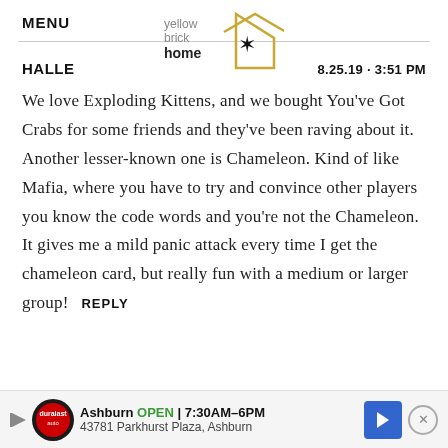MENU
[Figure (logo): Yellow Brick Home logo with house outline and star]
HALLE    8.25.19 · 3:51 PM
We love Exploding Kittens, and we bought You've Got Crabs for some friends and they've been raving about it. Another lesser-known one is Chameleon. Kind of like Mafia, where you have to try and convince other players you know the code words and you're not the Chameleon. It gives me a mild panic attack every time I get the chameleon card, but really fun with a medium or larger group!  REPLY
[Figure (screenshot): Ad banner: Ashburn OPEN 7:30AM-6PM, 43781 Parkhurst Plaza, Ashburn. Shows AutoZone-style logo, navigation arrow icon, and close button.]